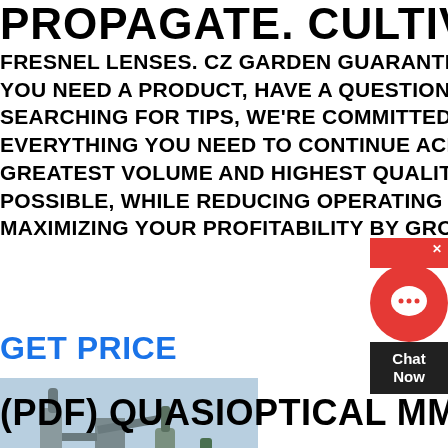PROPAGATE. CULTIVATE
FRESNEL LENSES. CZ GARDEN GUARANTEES. WHETHER YOU NEED A PRODUCT, HAVE A QUESTION OR ARE SEARCHING FOR TIPS, WE'RE COMMITTED TO PROVIDING EVERYTHING YOU NEED TO CONTINUE ACHIEVING THE GREATEST VOLUME AND HIGHEST QUALITY OF PRODUCE POSSIBLE, WHILE REDUCING OPERATING COSTS, AND MAXIMIZING YOUR PROFITABILITY BY GROWING SM
GET PRICE
[Figure (photo): Industrial milling or grinding machinery equipment outdoors in winter/snowy setting, grey metal equipment with pipes, cyclones, and hoppers]
(PDF) QUASIOPTICAL MM-